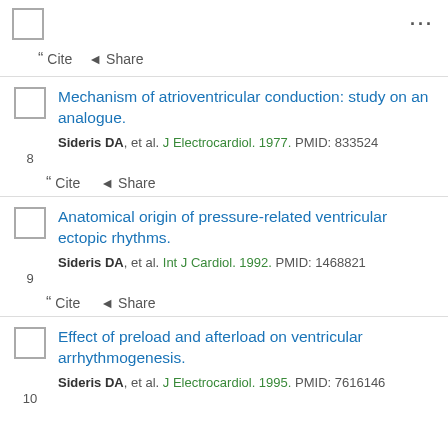☐  ...
❝ Cite  ◀ Share
8  Mechanism of atrioventricular conduction: study on an analogue.
Sideris DA, et al. J Electrocardiol. 1977. PMID: 833524
❝ Cite  ◀ Share
9  Anatomical origin of pressure-related ventricular ectopic rhythms.
Sideris DA, et al. Int J Cardiol. 1992. PMID: 1468821
❝ Cite  ◀ Share
10  Effect of preload and afterload on ventricular arrhythmogenesis.
Sideris DA, et al. J Electrocardiol. 1995. PMID: 7616146